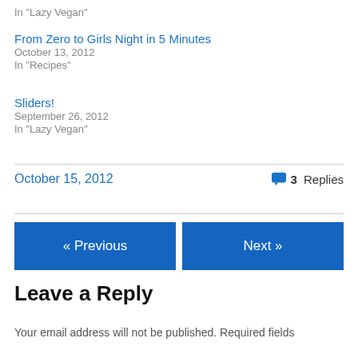In "Lazy Vegan"
From Zero to Girls Night in 5 Minutes
October 13, 2012
In "Recipes"
Sliders!
September 26, 2012
In "Lazy Vegan"
October 15, 2012   💬 3 Replies
« Previous
Next »
Leave a Reply
Your email address will not be published. Required fields